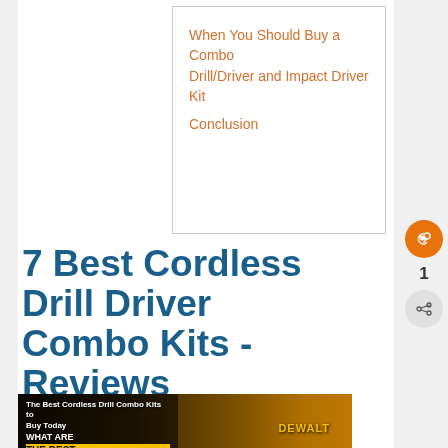When You Should Buy a Combo Drill/Driver and Impact Driver Kit
Conclusion
7 Best Cordless Drill Driver Combo Kits - Reviews
[Figure (screenshot): Video thumbnail showing 'The Best Cordless Drill Combo Kits to Buy Today' with DeWalt cordless drill combo kit products on a dark background with yellow text overlay. A 'What's Next' banner shows '10 Best Potting Soil...']